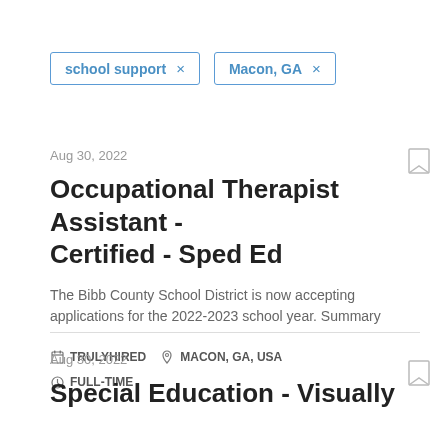school support ×
Macon, GA ×
Aug 30, 2022
Occupational Therapist Assistant - Certified - Sped Ed
The Bibb County School District is now accepting applications for the 2022-2023 school year. Summary
TRULYHIRED   MACON, GA, USA
FULL-TIME
Aug 30, 2022
Special Education - Visually